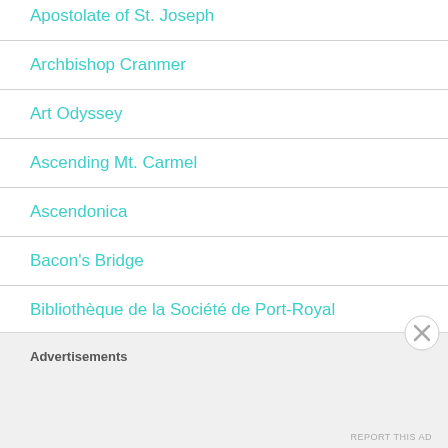Apostolate of St. Joseph
Archbishop Cranmer
Art Odyssey
Ascending Mt. Carmel
Ascendonica
Bacon's Bridge
Bibliothèque de la Société de Port-Royal
Advertisements